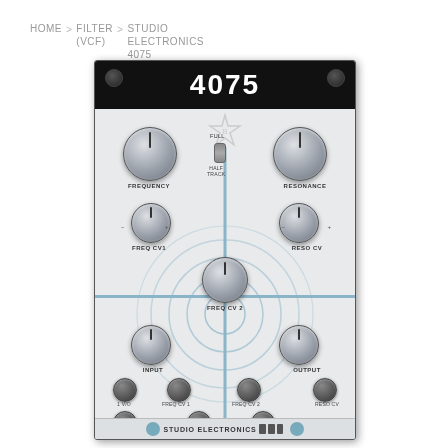HOME > FILTER (VCF) > STUDIO ELECTRONICS 4075 EURROACK VCF MODULE (ARP)
[Figure (photo): Studio Electronics 4075 Eurorack VCF Module (ARP) synthesizer filter panel. Silver/gray panel with black header showing '4075' branding. Features two large knobs (FREQUENCY and RESONANCE), four medium knobs (FREQ CV1, FREQ CV2, RESO CV, plus center FREQ CV2), INPUT and OUTPUT knobs, and a row of jack sockets labeled 1V/O, FREQ CV1, FREQ CV2, RESO CV on top row and INPUT, OUTPUT, OUTPUT on bottom row. Blue cross-hair design with concentric circles. Studio Electronics logo at bottom.]